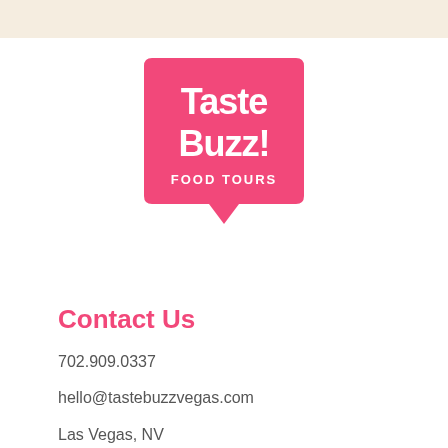[Figure (logo): Taste Buzz Food Tours logo — pink speech bubble shape with white text reading 'Taste Buzz! FOOD TOURS']
Contact Us
702.909.0337
hello@tastebuzzvegas.com
Las Vegas, NV